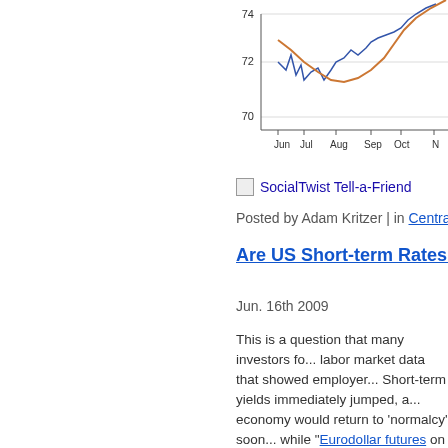[Figure (line-chart): Partial line chart showing values around 70-74 on y-axis, x-axis labeled Jun, Jul, Aug, Sep, Oct, N... Two lines visible: blue (volatile) and orange/red (smoother, trending up).]
SocialTwist Tell-a-Friend
Posted by Adam Kritzer | in Central Bank
Are US Short-term Rates Headed...
Jun. 16th 2009
This is a question that many investors fo... labor market data that showed employer... Short-term yields immediately jumped, a... economy would return to 'normalcy' soon... while "Eurodollar futures on Monday pric... point within a year."
There are two components that mandate... and economic growth. While both indicat... forecasting upticks in 2010. Commodities... the Fed's quantitative easing program a... to inflation if not "mopped up" as soon as...